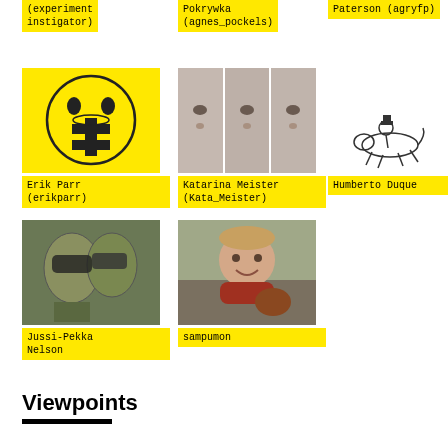(experiment instigator)
Pokrywka (agnes_pockels)
Paterson (agryfp)
[Figure (illustration): Yellow background with circle containing a face and alchemical/cross symbol — Erik Parr avatar]
[Figure (photo): Triptych of a person's face split into three vertical strips — Katarina Meister avatar]
[Figure (illustration): Sketch of a person riding a galloping dog/horse — Humberto Duque avatar]
Erik Parr (erikparr)
Katarina Meister (Kata_Meister)
Humberto Duque
[Figure (photo): Photo of two alien/creature mask figures — Jussi-Pekka Nelson avatar]
[Figure (photo): Photo of a smiling person holding a chicken outdoors — sampumon avatar]
Jussi-Pekka Nelson
sampumon
Viewpoints